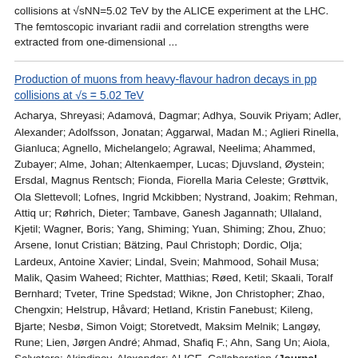collisions at √sNN=5.02 TeV by the ALICE experiment at the LHC. The femtoscopic invariant radii and correlation strengths were extracted from one-dimensional ...
Production of muons from heavy-flavour hadron decays in pp collisions at √s = 5.02 TeV
Acharya, Shreyasi; Adamová, Dagmar; Adhya, Souvik Priyam; Adler, Alexander; Adolfsson, Jonatan; Aggarwal, Madan M.; Aglieri Rinella, Gianluca; Agnello, Michelangelo; Agrawal, Neelima; Ahammed, Zubayer; Alme, Johan; Altenkaemper, Lucas; Djuvsland, Øystein; Ersdal, Magnus Rentsch; Fionda, Fiorella Maria Celeste; Grøttvik, Ola Slettevoll; Lofnes, Ingrid Mckibben; Nystrand, Joakim; Rehman, Attiq ur; Røhrich, Dieter; Tambave, Ganesh Jagannath; Ullaland, Kjetil; Wagner, Boris; Yang, Shiming; Yuan, Shiming; Zhou, Zhuo; Arsene, Ionut Cristian; Bätzing, Paul Christoph; Dordic, Olja; Lardeux, Antoine Xavier; Lindal, Svein; Mahmood, Sohail Musa; Malik, Qasim Waheed; Richter, Matthias; Røed, Ketil; Skaali, Toralf Bernhard; Tveter, Trine Spedstad; Wikne, Jon Christopher; Zhao, Chengxin; Helstrup, Håvard; Hetland, Kristin Fanebust; Kileng, Bjarte; Nesbø, Simon Voigt; Storetvedt, Maksim Melnik; Langøy, Rune; Lien, Jørgen André; Ahmad, Shafiq F.; Ahn, Sang Un; Aiola, Salvatore; Akindinov, Alexander; ALICE, Collaboration (Journal article / Tidsskriftartikkel /